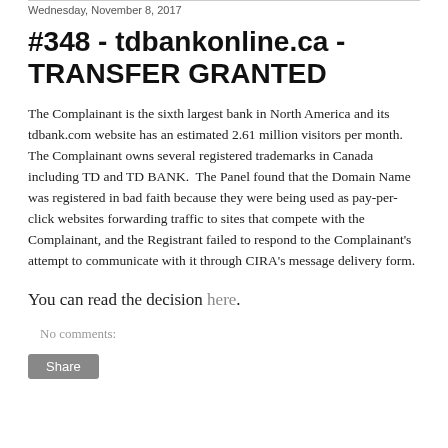Wednesday, November 8, 2017
#348 - tdbankonline.ca - TRANSFER GRANTED
The Complainant is the sixth largest bank in North America and its tdbank.com website has an estimated 2.61 million visitors per month.  The Complainant owns several registered trademarks in Canada including TD and TD BANK.  The Panel found that the Domain Name was registered in bad faith because they were being used as pay-per-click websites forwarding traffic to sites that compete with the Complainant, and the Registrant failed to respond to the Complainant's attempt to communicate with it through CIRA's message delivery form.
You can read the decision here.
No comments:
Share